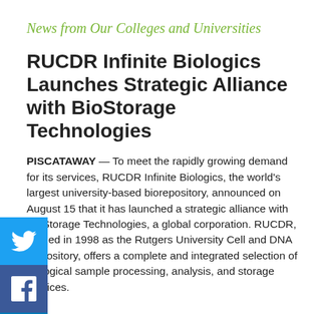News from Our Colleges and Universities
RUCDR Infinite Biologics Launches Strategic Alliance with BioStorage Technologies
PISCATAWAY — To meet the rapidly growing demand for its services, RUCDR Infinite Biologics, the world's largest university-based biorepository, announced on August 15 that it has launched a strategic alliance with BioStorage Technologies, a global corporation. RUCDR, formed in 1998 as the Rutgers University Cell and DNA Repository, offers a complete and integrated selection of biological sample processing, analysis, and storage services.
Jay A. Tischfield, founder and Chief Executive Officer of RUCDR and Duncan and Nancy Macmillan Professor of Genetics, said this is the repository's first alliance with a commercial entity.